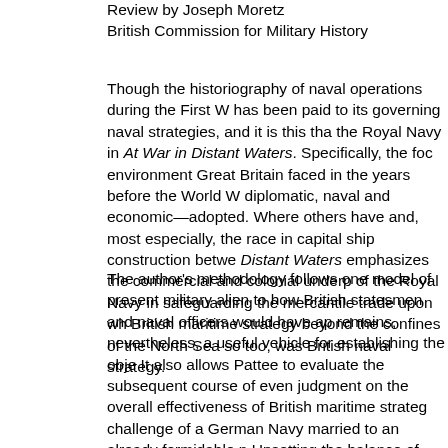Review by Joseph Moretz
British Commission for Military History
Though the historiography of naval operations during the First W has been paid to its governing naval strategies, and it is this tha the Royal Navy in At War in Distant Waters. Specifically, the foc environment Great Britain faced in the years before the World W diplomatic, naval and economic—adopted. Where others have and, most especially, the race in capital ship construction betwe Distant Waters emphasizes the commercial and colonial underp of the Royal Navy in safeguarding the mercantile trade upon wh British maritime strategy beyond the confines of the North Sea so too, was British naval strategy.
The author's methodology follows one model of present military alien to how British statesmen and naval officers would have ap remains, nevertheless, a useful vehicle for establishing the obje It also allows Pattee to evaluate the subsequent course of even judgment on the overall effectiveness of British maritime strateg challenge of a German Navy married to an already formidable n Upsetting the balance of power at home, it threatened British su agricultures were denied abroad. How Britain responded owed and both, deftly adopted, ensured that the nation and the Navy reached by the author is that the Royal Navy successfully exec was able to meet its three main tasks: Forestalling invasion of t